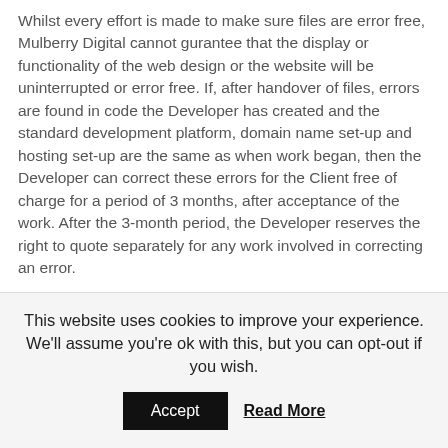Whilst every effort is made to make sure files are error free, Mulberry Digital cannot gurantee that the display or functionality of the web design or the website will be uninterrupted or error free. If, after handover of files, errors are found in code the Developer has created and the standard development platform, domain name set-up and hosting set-up are the same as when work began, then the Developer can correct these errors for the Client free of charge for a period of 3 months, after acceptance of the work. After the 3-month period, the Developer reserves the right to quote separately for any work involved in correcting an error.
If, after handover of files, errors are found in code
This website uses cookies to improve your experience. We'll assume you're ok with this, but you can opt-out if you wish.
Accept
Read More